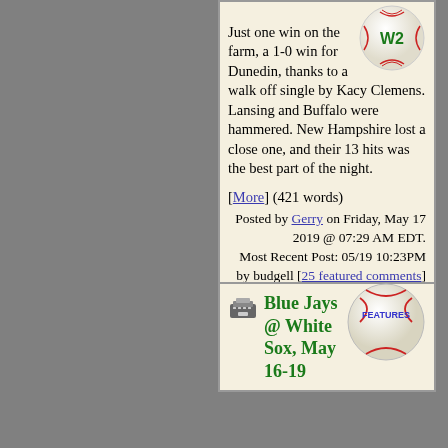Just one win on the farm, a 1-0 win for Dunedin, thanks to a walk off single by Kacy Clemens. Lansing and Buffalo were hammered. New Hampshire lost a close one, and their 13 hits was the best part of the night.
[More] (421 words)
Posted by Gerry on Friday, May 17 2019 @ 07:29 AM EDT. Most Recent Post: 05/19 10:23PM by budgell [25 featured comments]
Blue Jays @ White Sox, May 16-19